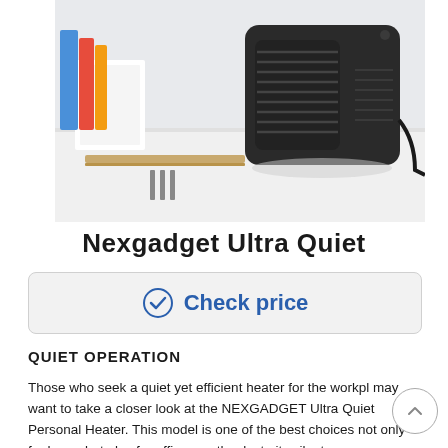[Figure (photo): A black compact personal space heater (Nexgadget Ultra Quiet) sitting on a white desk, with colorful books and office items visible in the background. The heater has a grille front and vented sides with a power cord.]
Nexgadget Ultra Quiet
✓ Check price
QUIET OPERATION
Those who seek a quiet yet efficient heater for the workpl may want to take a closer look at the NEXGADGET Ultra Quiet Personal Heater. This model is one of the best choices not only for home but also for office use thanks to its silent